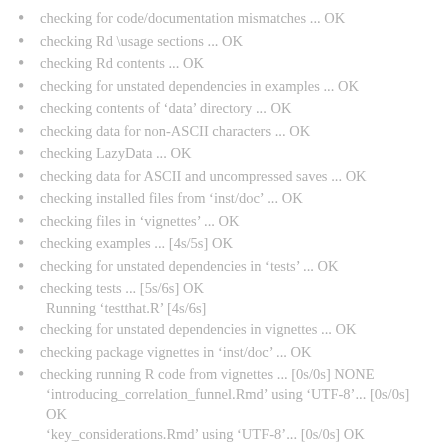checking for code/documentation mismatches ... OK
checking Rd \usage sections ... OK
checking Rd contents ... OK
checking for unstated dependencies in examples ... OK
checking contents of ‘data’ directory ... OK
checking data for non-ASCII characters ... OK
checking LazyData ... OK
checking data for ASCII and uncompressed saves ... OK
checking installed files from ‘inst/doc’ ... OK
checking files in ‘vignettes’ ... OK
checking examples ... [4s/5s] OK
checking for unstated dependencies in ‘tests’ ... OK
checking tests ... [5s/6s] OK
    Running ‘testthat.R’ [4s/6s]
checking for unstated dependencies in vignettes ... OK
checking package vignettes in ‘inst/doc’ ... OK
checking running R code from vignettes ... [0s/0s] NONE
    ‘introducing_correlation_funnel.Rmd’ using ‘UTF-8’... [0s/0s] OK
    ‘key_considerations.Rmd’ using ‘UTF-8’... [0s/0s] OK
checking re-building of vignette outputs ... [12s/25s] OK
checking PDF version of manual ... OK
DONE
Status: 1 NOTE